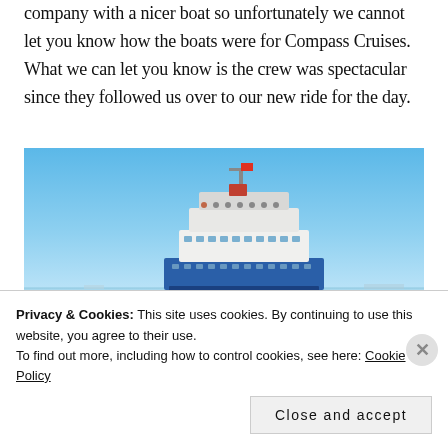company with a nicer boat so unfortunately we cannot let you know how the boats were for Compass Cruises. What we can let you know is the crew was spectacular since they followed us over to our new ride for the day.
[Figure (photo): A large ferry or cruise boat photographed from water level against a clear blue sky, showing the upper deck structure with passengers and communications equipment.]
Privacy & Cookies: This site uses cookies. By continuing to use this website, you agree to their use. To find out more, including how to control cookies, see here: Cookie Policy